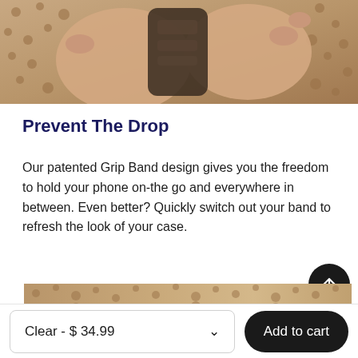[Figure (photo): Hands holding a phone case with a grip band, textured woven background visible]
Prevent The Drop
Our patented Grip Band design gives you the freedom to hold your phone on-the go and everywhere in between. Even better? Quickly switch out your band to refresh the look of your case.
[Figure (photo): Close-up of woven textured surface, tan/brown tones]